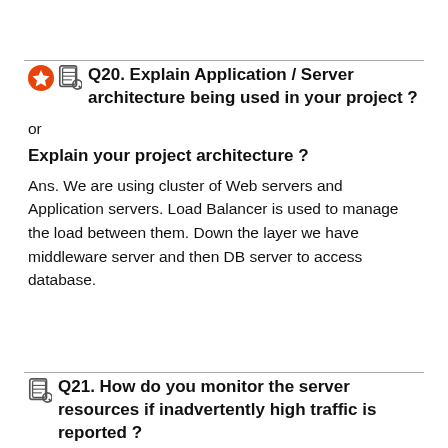Q20. Explain Application / Server architecture being used in your project ?
or
Explain your project architecture ?
Ans. We are using cluster of Web servers and Application servers. Load Balancer is used to manage the load between them. Down the layer we have middleware server and then DB server to access database.
Q21. How do you monitor the server resources if inadvertently high traffic is reported ?